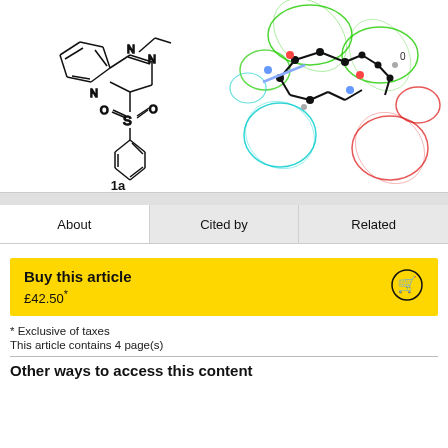[Figure (illustration): Left: Chemical structure of compound 1a, a quinoxaline sulfonamide with phenyl substituent. Right: 3D molecular pharmacophore/CoMFA map showing green, cyan, and red spheres around a stick model of a molecule.]
1a
About
Cited by
Related
Buy this article
£42.50*
* Exclusive of taxes
This article contains 4 page(s)
Other ways to access this content